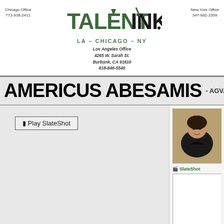[Figure (logo): Talent Ink agency logo with Chicago Office (773-938-2411) on left, New York Office (347-882-2209) on right, LA-CHICAGO-NY tagline, and Los Angeles Office address: 4265 W. Sarah St., Burbank, CA 91610, 818-846-5540]
AMERICUS ABESAMIS - AGVA, - FINANCE
[Figure (other): Play SlateShot button on gray background with photo thumbnail of a man in black shirt on the right side, SlateShot label, and a blank white thumbnail below]
Résumé